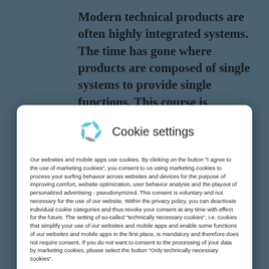Modern technical products are often highly integrated systems. The time has gone where products are composed of single systems to provide single functions. This course is concentrating on the philosophy of systems
[Figure (logo): Cookie settings dialog logo - a swirl/fan icon in blue and gray next to the text 'Cookie settings']
Cookie settings
Our websites and mobile apps use cookies. By clicking on the button "I agree to the use of marketing cookies", you consent to us using marketing cookies to process your surfing behavior across websites and devices for the purpose of improving comfort, website optimization, user behavior analysis and the playout of personalized advertising - pseudonymized. This consent is voluntary and not necessary for the use of our website. Within the privacy policy, you can deactivate individual cookie categories and thus revoke your consent at any time with effect for the future. The setting of so-called "technically necessary cookies", i.e. cookies that simplify your use of our websites and mobile apps and enable some functions of our websites and mobile apps in the first place, is mandatory and therefore does not require consent. If you do not want to consent to the processing of your data by marketing cookies, please select the button "Only technically necessary cookies".
If you are under 16 and wish to give consent to optional services, you must ask your legal guardians for permission.
Essential (checked)
Marketing (unchecked)
External Media (unchecked)